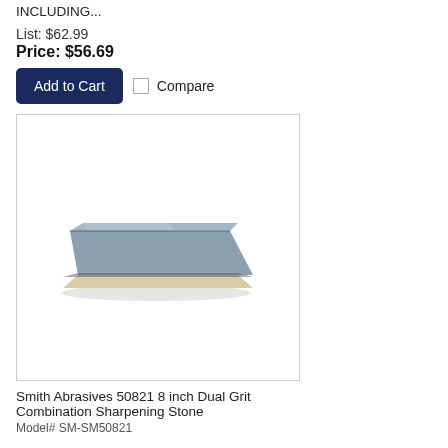INCLUDING...
List: $62.99
Price: $56.69
Add to Cart   Compare
[Figure (photo): Smith Abrasives 50821 8 inch Dual Grit Combination Sharpening Stone product photo showing a rectangular whetstone with blue/grey top surface and beige bottom, viewed at an angle]
Smith Abrasives 50821 8 inch Dual Grit Combination Sharpening Stone
Model# SM-SM50821